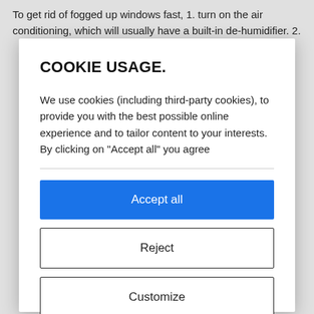To get rid of fogged up windows fast, 1. turn on the air conditioning, which will usually have a built-in de-humidifier. 2.
COOKIE USAGE.
We use cookies (including third-party cookies), to provide you with the best possible online experience and to tailor content to your interests. By clicking on "Accept all" you agree
Accept all
Reject
Customize